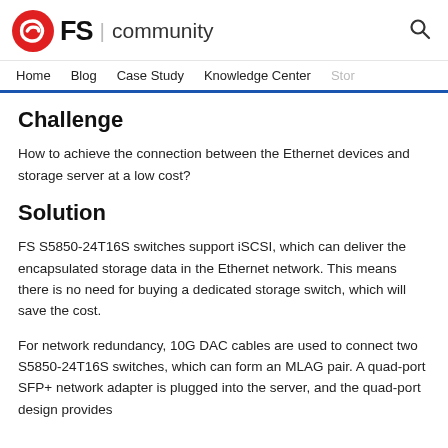FS | community
Home | Blog | Case Study | Knowledge Center | Story
Challenge
How to achieve the connection between the Ethernet devices and storage server at a low cost?
Solution
FS S5850-24T16S switches support iSCSI, which can deliver the encapsulated storage data in the Ethernet network. This means there is no need for buying a dedicated storage switch, which will save the cost.
For network redundancy, 10G DAC cables are used to connect two S5850-24T16S switches, which can form an MLAG pair. A quad-port SFP+ network adapter is plugged into the server, and the quad-port design provides